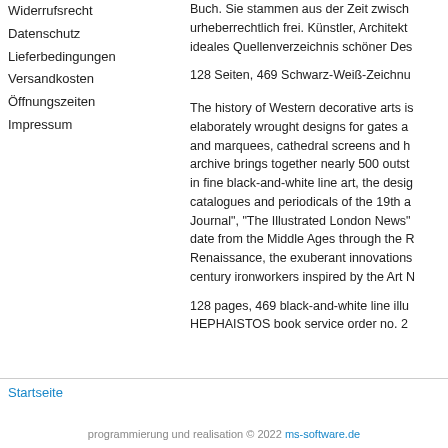Widerrufsrecht
Datenschutz
Lieferbedingungen
Versandkosten
Öffnungszeiten
Impressum
Buch. Sie stammen aus der Zeit zwisch... urheberrechtlich frei. Künstler, Architekt... ideales Quellenverzeichnis schöner Des...
128 Seiten, 469 Schwarz-Weiß-Zeichnu...
The history of Western decorative arts is... elaborately wrought designs for gates a... and marquees, cathedral screens and h... archive brings together nearly 500 outst... in fine black-and-white line art, the desig... catalogues and periodicals of the 19th a... Journal", "The Illustrated London News"... date from the Middle Ages through the R... Renaissance, the exuberant innovations... century ironworkers inspired by the Art N...
128 pages, 469 black-and-white line illu... HEPHAISTOS book service order no. 2...
Startseite
programmierung und realisation © 2022 ms-software.de